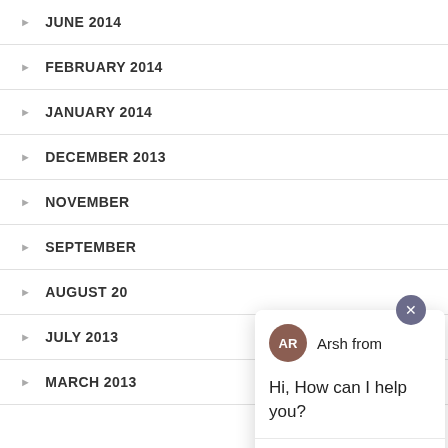JUNE 2014
FEBRUARY 2014
JANUARY 2014
DECEMBER 2013
NOVEMBER
SEPTEMBER
AUGUST 20
JULY 2013
MARCH 2013
[Figure (screenshot): Chat widget overlay showing avatar with initials AR, agent name 'Arsh from', message 'Hi, How can I help you?', and a text input field with placeholder 'Type your message'. A close button (x) is in the top right, and a purple chat launcher button is in the bottom right corner.]